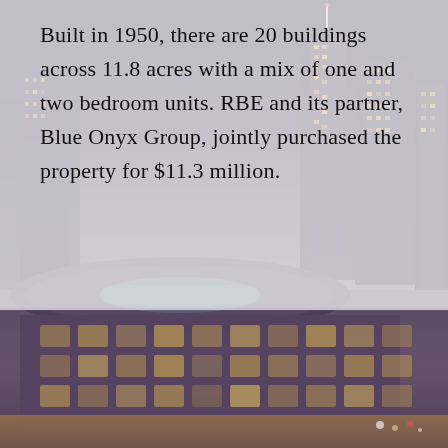[Figure (photo): Aerial/elevated cityscape photo showing urban buildings at dusk/night with warm lighting. Top half shows tall city tower buildings against a dark sky; bottom half shows a large curved commercial or mixed-use building complex with illuminated windows and parking areas.]
Built in 1950, there are 20 buildings across 11.8 acres with a mix of one and two bedroom units. RBE and its partner, Blue Onyx Group, jointly purchased the property for $11.3 million.
READ MORE